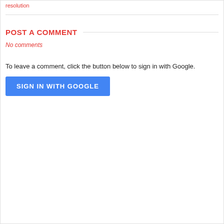resolution
POST A COMMENT
No comments
To leave a comment, click the button below to sign in with Google.
SIGN IN WITH GOOGLE